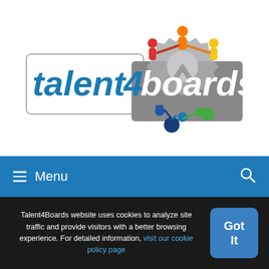[Figure (logo): Talent4Boards logo: text 'talent4boards' with a gear/cog icon decorated with colorful people figures on top and connected nodes below]
≡  Menu
Talent4Boards website uses cookies to analyze site traffic and provide visitors with a better browsing experience. For detailed information, visit our cookie policy page
Got It